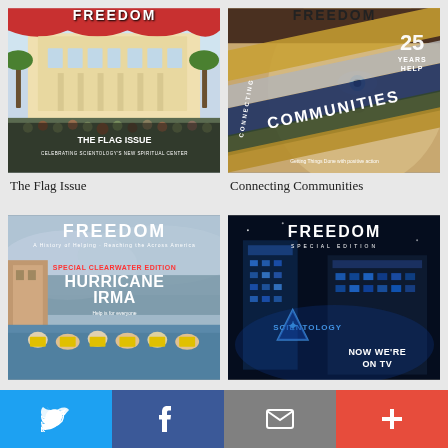[Figure (photo): Freedom magazine cover - The Flag Issue, showing Scientology's spiritual center building with crowds]
[Figure (photo): Freedom magazine cover - Connecting Communities, showing a young woman's face with diagonal colored stripes and '25 Years' text]
The Flag Issue
Connecting Communities
[Figure (photo): Freedom magazine cover - Hurricane Irma Special Clearwater Edition, showing flooded street with rescue workers]
[Figure (photo): Freedom magazine Special Edition cover - Scientology, showing blue-lit modern buildings with 'Now We're On TV' text]
[Figure (infographic): Bottom navigation bar with Twitter, Facebook, Email, and Plus buttons]